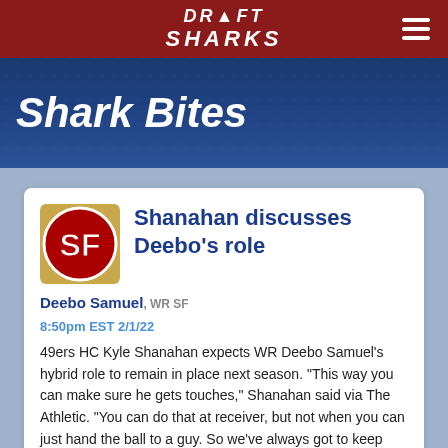DRAFT SHARKS
Shark Bites
Shanahan discusses Deebo's role
Deebo Samuel, WR SF
8:50pm EST 2/1/22
49ers HC Kyle Shanahan expects WR Deebo Samuel's hybrid role to remain in place next season. "This way you can make sure he gets touches," Shanahan said via The Athletic. "You can do that at receiver, but not when you can just hand the ball to a guy. So we've always got to keep that threat. That's